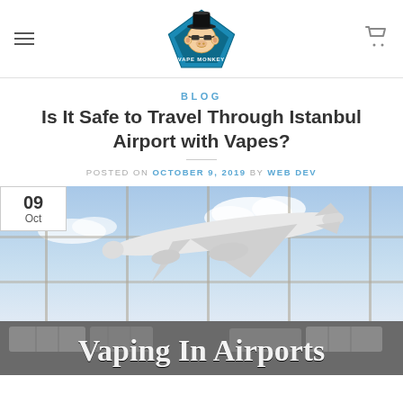Vape Monkey logo with hamburger menu and cart icon
BLOG
Is It Safe to Travel Through Istanbul Airport with Vapes?
POSTED ON OCTOBER 9, 2019 BY WEB DEV
[Figure (photo): Airport terminal photo showing a large airplane visible through floor-to-ceiling windows, with airport seating visible in the foreground. Text overlay reads 'Vaping In Airports'. Date badge showing '09 Oct' in top-left corner.]